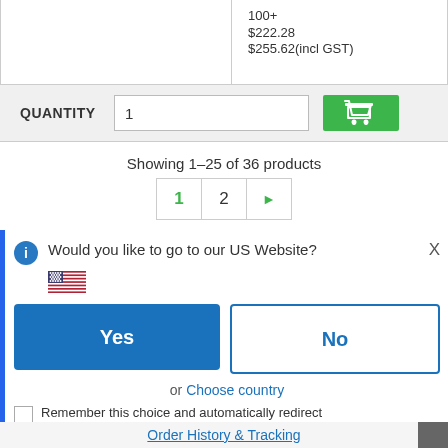| Quantity | Price |
| --- | --- |
| 100+ | $222.28
$255.62(incl GST) |
QUANTITY  1
Showing 1–25 of 36 products
1  2  ▶
Would you like to go to our US Website?
Yes
No
or Choose country
Remember this choice and automatically redirect me in the future
Order History & Tracking